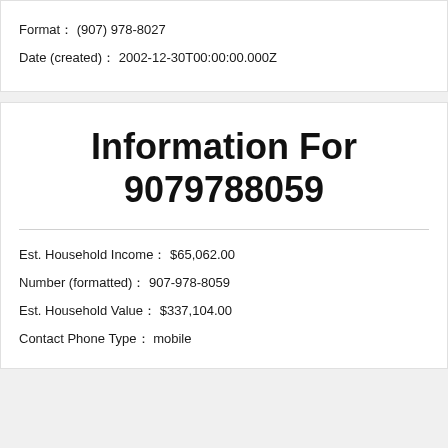Format: (907) 978-8027
Date (created): 2002-12-30T00:00:00.000Z
Information For 9079788059
Est. Household Income: $65,062.00
Number (formatted): 907-978-8059
Est. Household Value: $337,104.00
Contact Phone Type: mobile